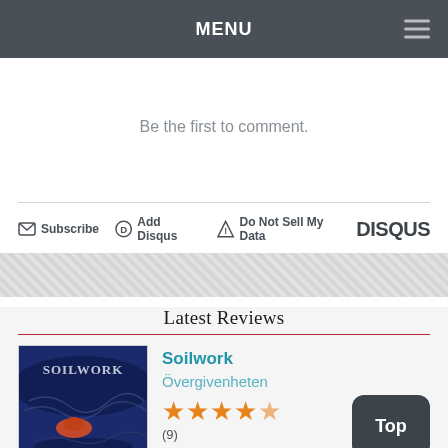MENU
Be the first to comment.
Subscribe   Add Disqus   Do Not Sell My Data   DISQUS
Latest Reviews
Soilwork
Övergivenheten
★★★★½ (9)